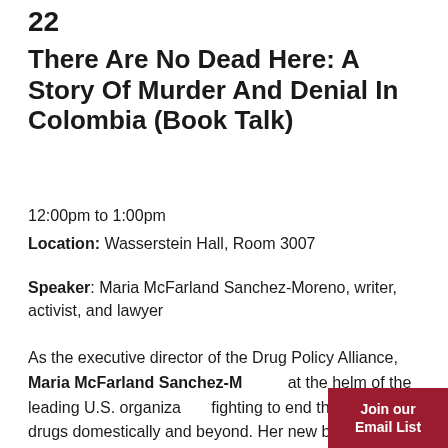22
There Are No Dead Here: A Story Of Murder And Denial In Colombia (Book Talk)
12:00pm to 1:00pm
Location: Wasserstein Hall, Room 3007
Speaker: Maria McFarland Sanchez-Moreno, writer, activist, and lawyer
As the executive director of the Drug Policy Alliance, Maria McFarland Sanchez-M… at the helm of the leading U.S. organiza… fighting to end the war on drugs domestically and beyond. Her new book is a narrative non-
Join our Email List